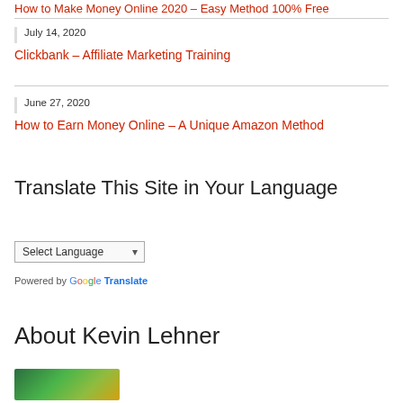How to Make Money Online 2020 – Easy Method 100% Free
July 14, 2020
Clickbank – Affiliate Marketing Training
June 27, 2020
How to Earn Money Online – A Unique Amazon Method
Translate This Site in Your Language
Select Language
Powered by Google Translate
About Kevin Lehner
[Figure (photo): Photo or illustration related to Kevin Lehner]